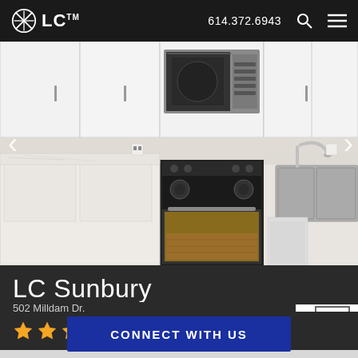LC™  614.372.6943
[Figure (photo): Kitchen interior with white cabinets, stainless steel over-the-range microwave, black electric stove with open oven, marble countertops, and stainless steel sink with modern faucet]
LC Sunbury
502 Milldam Dr.
Mon. - Fri. 10am - 6pm Sat. 10am - 5pm Sun. Closed
614.372.6943
★★★★☆  62 REVIEWS
CONNECT WITH US